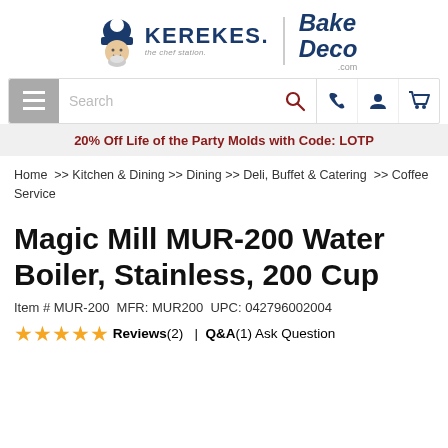[Figure (logo): Kerekes / Bake Deco combined logo with chef mascot icon]
[Figure (screenshot): Navigation bar with hamburger menu, search box, phone, account and cart icons]
20% Off Life of the Party Molds with Code: LOTP
Home >> Kitchen & Dining >> Dining >> Deli, Buffet & Catering >> Coffee Service
Magic Mill MUR-200 Water Boiler, Stainless, 200 Cup
Item # MUR-200  MFR: MUR200  UPC: 042796002004
★★★★★ Reviews (2) | Q&A (1) Ask Question